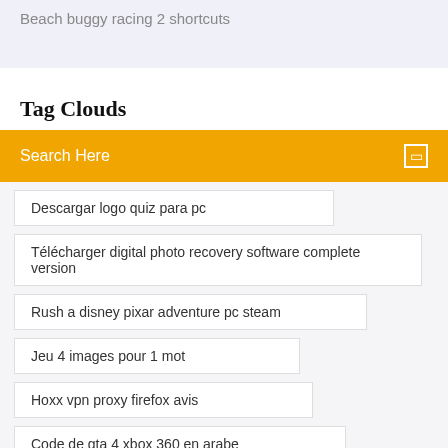Beach buggy racing 2 shortcuts
Tag Clouds
Search Here
Descargar logo quiz para pc
Télécharger digital photo recovery software complete version
Rush a disney pixar adventure pc steam
Jeu 4 images pour 1 mot
Hoxx vpn proxy firefox avis
Code de gta 4 xbox 360 en arabe